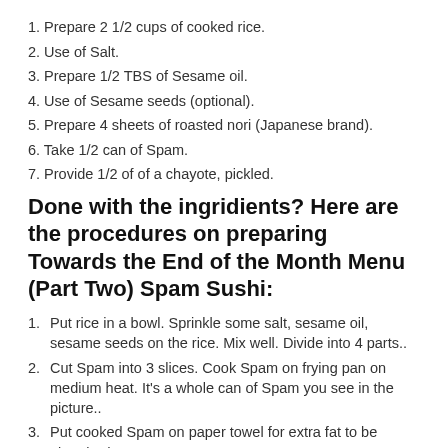1. Prepare 2 1/2 cups of cooked rice.
2. Use of Salt.
3. Prepare 1/2 TBS of Sesame oil.
4. Use of Sesame seeds (optional).
5. Prepare 4 sheets of roasted nori (Japanese brand).
6. Take 1/2 can of Spam.
7. Provide 1/2 of of a chayote, pickled.
Done with the ingridients? Here are the procedures on preparing Towards the End of the Month Menu (Part Two) Spam Sushi:
1. Put rice in a bowl. Sprinkle some salt, sesame oil, sesame seeds on the rice. Mix well. Divide into 4 parts..
2. Cut Spam into 3 slices. Cook Spam on frying pan on medium heat. It's a whole can of Spam you see in the picture..
3. Put cooked Spam on paper towel for extra fat to be absorbed.